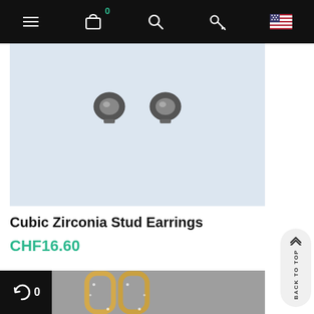[Figure (screenshot): E-commerce website navigation bar with hamburger menu, shopping cart with badge showing 0, search icon, key icon, and USA flag icon on black background]
[Figure (photo): Product photo of cubic zirconia stud earrings on light blue-grey background]
Cubic Zirconia Stud Earrings
CHF16.60
[Figure (photo): Product photo of gold hoop/huggie style cubic zirconia earrings on grey background]
[Figure (other): Back to top button]